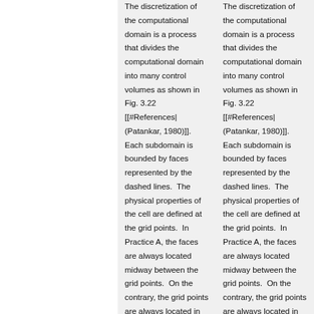The discretization of the computational domain is a process that divides the computational domain into many control volumes as shown in Fig. 3.22 [[#References|(Patankar, 1980)]]. Each subdomain is bounded by faces represented by the dashed lines.  The physical properties of the cell are defined at the grid points.  In Practice A, the faces are always located midway between the grid points.  On the contrary, the grid points are always located in the center of the control volume in Practice B.  Obviously, if a uniform grid is used, the two practices result in identical grid size and therefore, any
The discretization of the computational domain is a process that divides the computational domain into many control volumes as shown in Fig. 3.22 [[#References|(Patankar, 1980)]]. Each subdomain is bounded by faces represented by the dashed lines.  The physical properties of the cell are defined at the grid points.  In Practice A, the faces are always located midway between the grid points.  On the contrary, the grid points are always located in the center of the control volume in Practice B.  Obviously, if a uniform grid is used, the two practices result in identical grid size and therefore, any